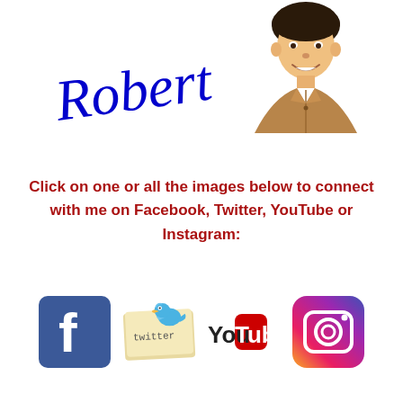[Figure (illustration): Cartoon avatar illustration of a smiling man with dark hair wearing a brown collared shirt, positioned in upper right]
[Figure (illustration): Handwritten-style cursive signature reading 'Robert' in blue ink, upper left area]
Click on one or all the images below to connect with me on Facebook, Twitter, YouTube or Instagram:
[Figure (logo): Facebook logo icon - blue square with white lowercase f]
[Figure (logo): Twitter bird logo on a note/paper style background]
[Figure (logo): YouTube logo - 'You' in black and 'Tube' in white on red rectangle]
[Figure (logo): Instagram logo - gradient square with camera outline]